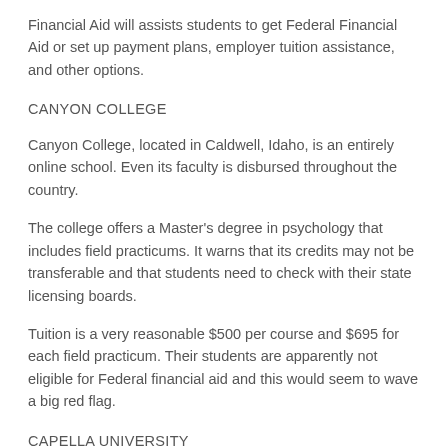Financial Aid will assists students to get Federal Financial Aid or set up payment plans, employer tuition assistance, and other options.
CANYON COLLEGE
Canyon College, located in Caldwell, Idaho, is an entirely online school. Even its faculty is disbursed throughout the country.
The college offers a Master's degree in psychology that includes field practicums. It warns that its credits may not be transferable and that students need to check with their state licensing boards.
Tuition is a very reasonable $500 per course and $695 for each field practicum. Their students are apparently not eligible for Federal financial aid and this would seem to wave a big red flag.
CAPELLA UNIVERSITY
Capella University offers an extensive advanced degree program. It does require some residency and field training which seem very